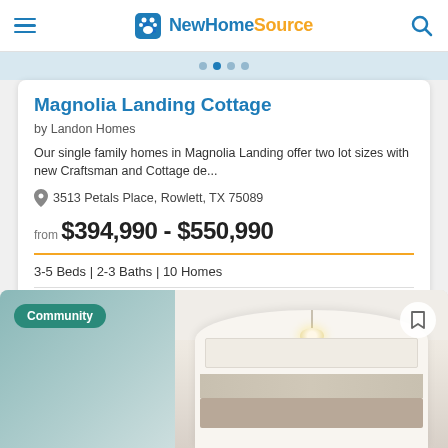NewHomeSource
Magnolia Landing Cottage
by Landon Homes
Our single family homes in Magnolia Landing offer two lot sizes with new Craftsman and Cottage de...
3513 Petals Place, Rowlett, TX 75089
from $394,990 - $550,990
3-5 Beds | 2-3 Baths | 10 Homes
Get Brochure
[Figure (photo): Community photo showing interior of a kitchen with white cabinets, chandelier, and arched doorway. Community badge overlay in teal.]